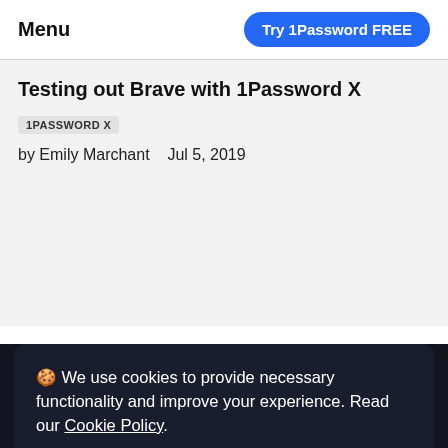Menu | Try 1Password FREE
Testing out Brave with 1Password X
1PASSWORD X
by Emily Marchant   Jul 5, 2019
🍪 We use cookies to provide necessary functionality and improve your experience. Read our Cookie Policy.
OK
Enterprise Password M...